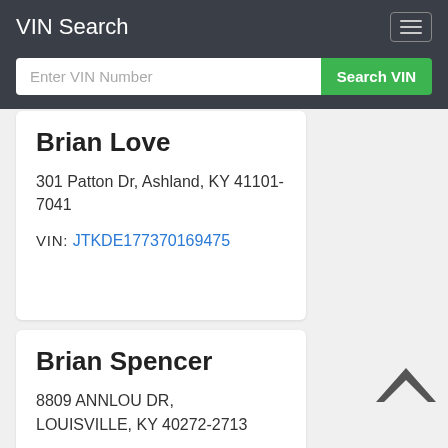VIN Search
Enter VIN Number
Search VIN
Brian Love
301 Patton Dr, Ashland, KY 41101-7041
VIN: JTKDE177370169475
Brian Spencer
8809 ANNLOU DR, LOUISVILLE, KY 40272-2713